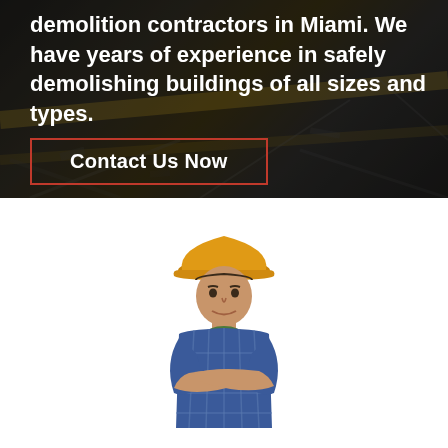[Figure (photo): Dark construction site background with rubble and debris, overlaid with large white bold text and a red-bordered call-to-action button]
demolition contractors in Miami. We have years of experience in safely demolishing buildings of all sizes and types.
Contact Us Now
[Figure (photo): A construction worker man wearing a yellow hard hat and blue plaid shirt with arms crossed, standing against a white background]